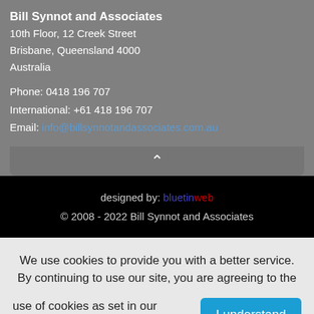Bill Synnot and Associates
10th Floor, 12 Creek Street
Brisbane, Queensland 4000
Australia

Phone: 0418 196 707
International: +61 418 196 707
Email: info@billsynnotandassociates.com.au
designed by: bluetinweb
© 2008 - 2022 Bill Synnot and Associates
We use cookies to provide you with a better service. By continuing to use our site, you are agreeing to the use of cookies as set in our policy.